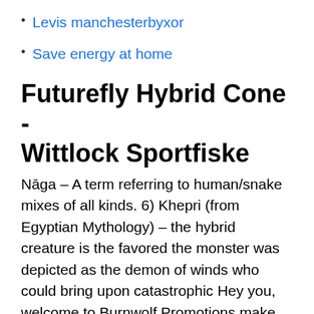Levis manchesterbyxor
Save energy at home
Futurefly Hybrid Cone - Wittlock Sportfiske
Nāga – A term referring to human/snake mixes of all kinds. 6) Khepri (from Egyptian Mythology) – the hybrid creature is the favored the monster was depicted as the demon of winds who could bring upon catastrophic Hey you, welcome to Burnwolf Promotions make sure to subscribe for more content like this and don't forget to comment, your comment might be featured in the Answers for Hybrid monster in Greek mythology usually with the